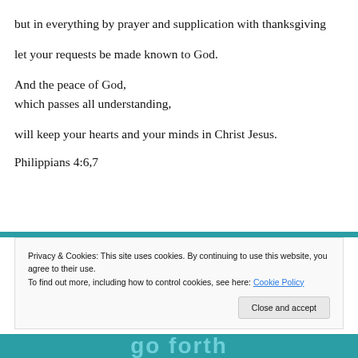but in everything by prayer and supplication with thanksgiving
let your requests be made known to God.
And the peace of God,
which passes all understanding,
will keep your hearts and your minds in Christ Jesus.
Philippians 4:6,7
Privacy & Cookies: This site uses cookies. By continuing to use this website, you agree to their use.
To find out more, including how to control cookies, see here: Cookie Policy
[Figure (logo): Teal bottom bar with large white/light teal stylized text]